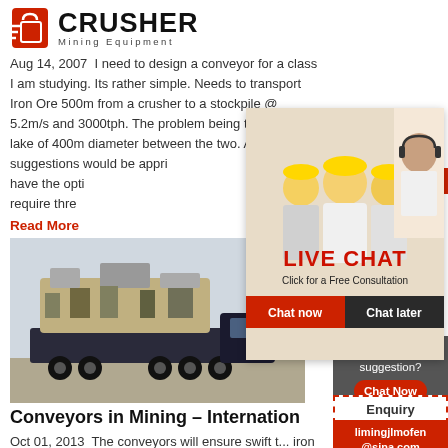[Figure (logo): Crusher Mining Equipment logo with red shopping bag icon and bold CRUSHER text]
Aug 14, 2007  I need to design a conveyor for a class I am studying. Its rather simple. Needs to transport Iron Ore 500m from a crusher to a stockpile @ 5.2m/s and 3000tph. The problem being there is a lake of 400m diameter between the two. Any tips or suggestions would be appri... have the opti... require thre...
Read More
[Figure (photo): Large mining crusher/screening machine on a flatbed truck]
[Figure (infographic): Live Chat popup overlay with construction workers in yellow hard hats, LIVE CHAT text, Click for a Free Consultation, Chat now and Chat later buttons, and a customer service woman with headset]
Conveyors in Mining – Internation...
Oct 01, 2013  The conveyors will ensure swift t... iron ore from super-size freighters to the mainla... will deliver and install the conveyors, put them into operation